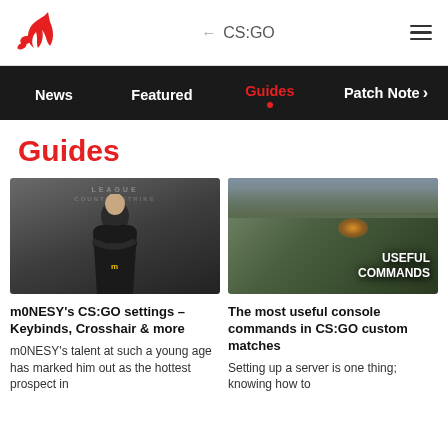← CS:GO
News | Featured | Guides | Patch Note >
Guides
[Figure (photo): Photo of m0NESY CS:GO player in black jacket with league logo background]
m0NESY's CS:GO settings – Keybinds, Crosshair & more
m0NESY's talent at such a young age has marked him out as the hottest prospect in
[Figure (screenshot): CS:GO game screenshot with text USEFUL COMMANDS overlay]
The most useful console commands in CS:GO custom matches
Setting up a server is one thing; knowing how to